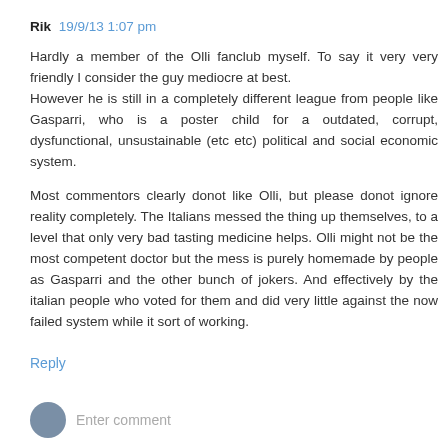Rik  19/9/13 1:07 pm
Hardly a member of the Olli fanclub myself. To say it very very friendly I consider the guy mediocre at best. However he is still in a completely different league from people like Gasparri, who is a poster child for a outdated, corrupt, dysfunctional, unsustainable (etc etc) political and social economic system.
Most commentors clearly donot like Olli, but please donot ignore reality completely. The Italians messed the thing up themselves, to a level that only very bad tasting medicine helps. Olli might not be the most competent doctor but the mess is purely homemade by people as Gasparri and the other bunch of jokers. And effectively by the italian people who voted for them and did very little against the now failed system while it sort of working.
Reply
Enter comment